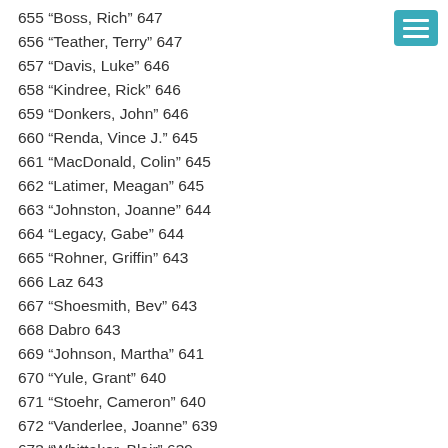655 “Boss, Rich” 647
656 “Teather, Terry” 647
657 “Davis, Luke” 646
658 “Kindree, Rick” 646
659 “Donkers, John” 646
660 “Renda, Vince J.” 645
661 “MacDonald, Colin” 645
662 “Latimer, Meagan” 645
663 “Johnston, Joanne” 644
664 “Legacy, Gabe” 644
665 “Rohner, Griffin” 643
666 Laz 643
667 “Shoesmith, Bev” 643
668 Dabro 643
669 “Johnson, Martha” 641
670 “Yule, Grant” 640
671 “Stoehr, Cameron” 640
672 “Vanderlee, Joanne” 639
673 “Whittaker, Blair” 639